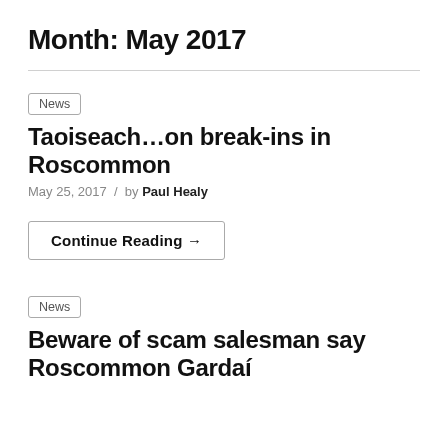Month: May 2017
News
Taoiseach…on break-ins in Roscommon
May 25, 2017  /  by Paul Healy
Continue Reading →
News
Beware of scam salesman say Roscommon Gardaí